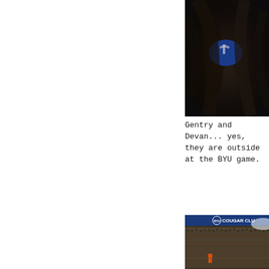[Figure (photo): Close-up photo of a person with dark hair, partially obscuring a blue BYU logo or sign, taken at a stadium at night]
Gentry and Devan... yes, they are outside at the BYU game.
[Figure (photo): Wide stadium shot showing a packed BYU Cougar Club football game crowd with stadium signage visible at top]